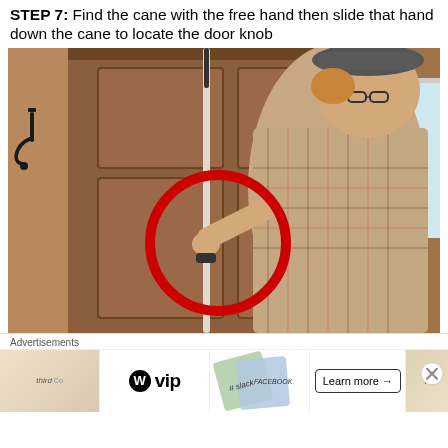STEP 7: Find the cane with the free hand then slide that hand down the cane to locate the door knob
[Figure (photo): A man wearing a plaid shirt and grey flat cap using a white cane near a wooden door. His hand holds the cane near the door; a red circle highlights the hand gripping the cane at the door area.]
Advertisements
[Figure (infographic): Advertisement bar with WordPress VIP logo, Slack and Facebook themed icons, and a 'Learn more' button with a close X icon.]